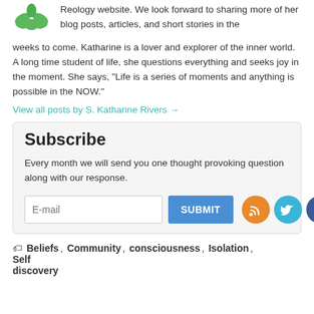Reology website. We look forward to sharing more of her blog posts, articles, and short stories in the weeks to come. Katharine is a lover and explorer of the inner world. A long time student of life, she questions everything and seeks joy in the moment. She says, "Life is a series of moments and anything is possible in the NOW."
View all posts by S. Katharine Rivers →
Subscribe
Every month we will send you one thought provoking question along with our response.
E-mail
SUBMIT
Beliefs, Community, consciousness, Isolation, Self discovery